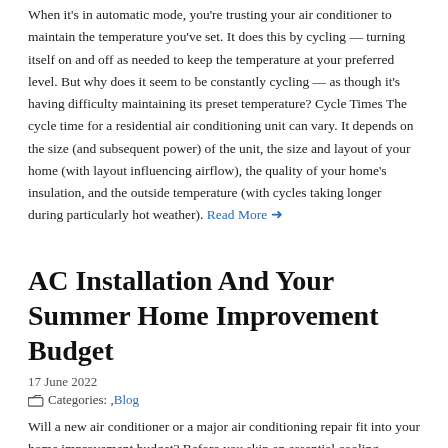When it's in automatic mode, you're trusting your air conditioner to maintain the temperature you've set. It does this by cycling — turning itself on and off as needed to keep the temperature at your preferred level. But why does it seem to be constantly cycling — as though it's having difficulty maintaining its preset temperature? Cycle Times The cycle time for a residential air conditioning unit can vary. It depends on the size (and subsequent power) of the unit, the size and layout of your home (with layout influencing airflow), the quality of your home's insulation, and the outside temperature (with cycles taking longer during particularly hot weather). Read More →
AC Installation And Your Summer Home Improvement Budget
17 June 2022
Categories: , Blog
Will a new air conditioner or a major air conditioning repair fit into your home improvement budget? Before you skip an essential cooling service, take a look at what you need to know about costs, AC installation, air conditioning repairs, and your options. Can You Wait? The answer to this question depends on a few factors. Some homeowners can wait to replace